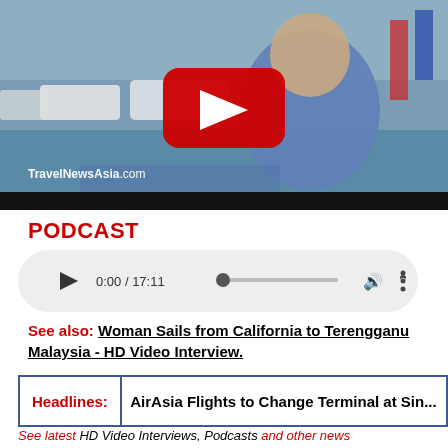[Figure (screenshot): YouTube video thumbnail showing a man in a blue polo shirt at what appears to be a boat/yacht show, with TravelNewsAsia.com watermark and a YouTube play button overlay]
PODCAST
[Figure (screenshot): Audio player widget showing 0:00 / 17:11 with play button, progress bar, volume and options icons]
See also: Woman Sails from California to Terengganu Malaysia - HD Video Interview.
| Headlines: | AirAsia Flights to Change Terminal at Sin... |
| --- | --- |
See latest HD Video Interviews, Podcasts and other news